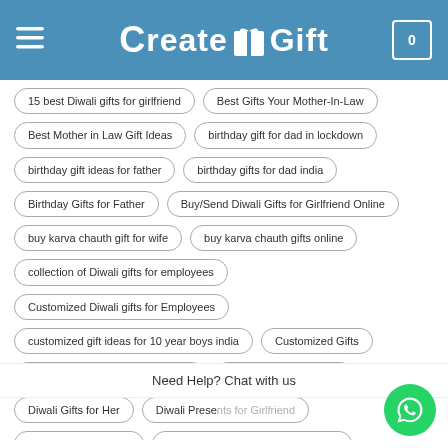CreateNGift
15 best Diwali gifts for girlfriend
Best Gifts Your Mother-In-Law
Best Mother in Law Gift Ideas
birthday gift for dad in lockdown
birthday gift ideas for father
birthday gifts for dad india
Birthday Gifts for Father
Buy/Send Diwali Gifts for Girlfriend Online
buy karva chauth gift for wife
buy karva chauth gifts online
collection of Diwali gifts for employees
Customized Diwali gifts for Employees
customized gift ideas for 10 year boys india
Customized Gifts
Diwali gifts for Employees in India
diwali gifts for girlfriend
Diwali Gifts for Her
Diwali Presents for Girlfriend
gift for gf under 2000
gift ideas for 10 year old kid in india
gift ideas for 10 years boys
gift ideas for 12 year boy india
Need Help? Chat with us